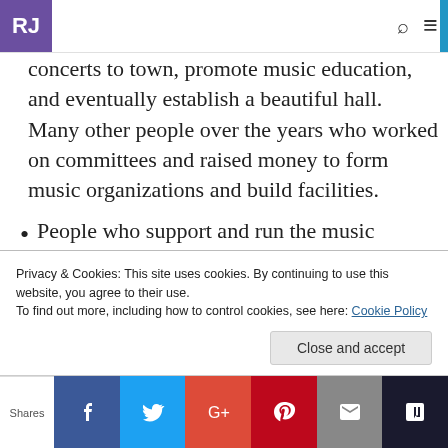RJ
concerts to town, promote music education, and eventually establish a beautiful hall.  Many other people over the years who worked on committees and raised money to form music organizations and build facilities.
People who support and run the music organizations today, including our magnificent professional orchestra, the Grand Rapids Symphony, alive and kicking when so many regional
Privacy & Cookies: This site uses cookies. By continuing to use this website, you agree to their use.
To find out more, including how to control cookies, see here: Cookie Policy
Close and accept
Shares | Facebook | Twitter | Google+ | Pinterest | Email | Bookmark